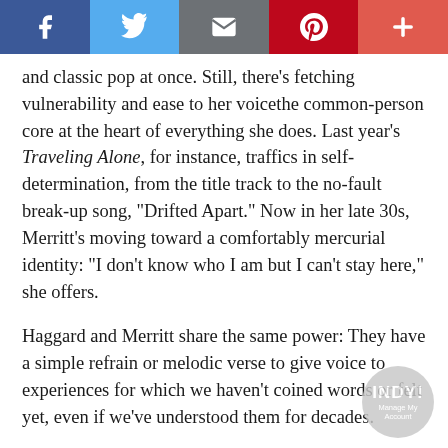[Figure (screenshot): Social media sharing toolbar with Facebook, Twitter, email, Pinterest, and plus buttons]
and classic pop at once. Still, there's fetching vulnerability and ease to her voicethe common-person core at the heart of everything she does. Last year's Traveling Alone, for instance, traffics in self-determination, from the title track to the no-fault break-up song, "Drifted Apart." Now in her late 30s, Merritt's moving toward a comfortably mercurial identity: "I don't know who I am but I can't stay here," she offers.
Haggard and Merritt share the same power: They have a simple refrain or melodic verse to give voice to experiences for which we haven't coined words or felt yet, even if we've understood them for decades.
[Figure (logo): INDY Manage My Account circular logo watermark]